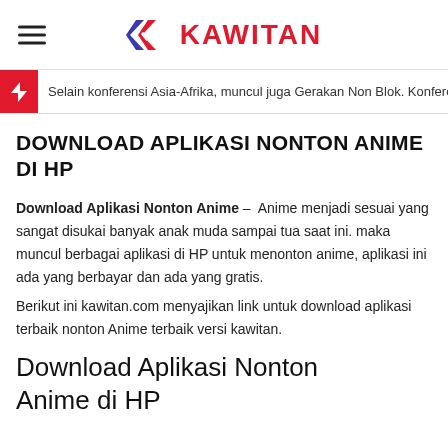KAWITAN
Selain konferensi Asia-Afrika, muncul juga Gerakan Non Blok. Konferensi As
DOWNLOAD APLIKASI NONTON ANIME DI HP
Download Aplikasi Nonton Anime – Anime menjadi sesuai yang sangat disukai banyak anak muda sampai tua saat ini. maka muncul berbagai aplikasi di HP untuk menonton anime, aplikasi ini ada yang berbayar dan ada yang gratis.
Berikut ini kawitan.com menyajikan link untuk download aplikasi terbaik nonton Anime terbaik versi kawitan.
Download Aplikasi Nonton Anime di HP